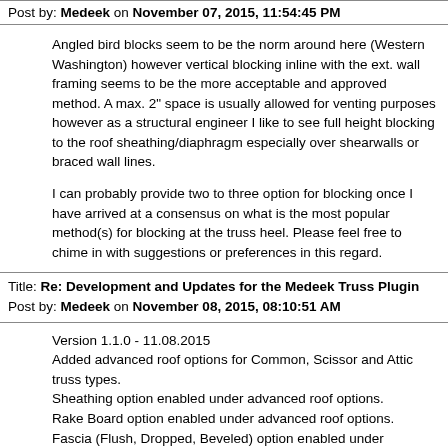Post by: Medeek on November 07, 2015, 11:54:45 PM
Angled bird blocks seem to be the norm around here (Western Washington) however vertical blocking inline with the ext. wall framing seems to be the more acceptable and approved method.  A max. 2" space is usually allowed for venting purposes however as a structural engineer I like to see full height blocking to the roof sheathing/diaphragm especially over shearwalls or braced wall lines.
I can probably provide two to three option for blocking once I have arrived at a consensus on what is the most popular method(s) for blocking at the truss heel.  Please feel free to chime in with suggestions or preferences in this regard.
Title: Re: Development and Updates for the Medeek Truss Plugin
Post by: Medeek on November 08, 2015, 08:10:51 AM
Version 1.1.0 - 11.08.2015
Added advanced roof options for Common, Scissor and Attic truss types.
Sheathing option enabled under advanced roof options.
Rake Board option enabled under advanced roof options.
Fascia (Flush, Dropped, Beveled) option enabled under advanced roof options.
(http://design.medeek.com/resources/images/truss_su15_800.jpg)
2x6 fascia and rake boards with gable end trusses.  I would show the